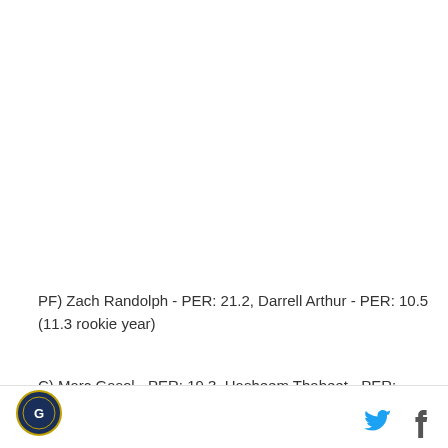PF) Zach Randolph - PER: 21.2, Darrell Arthur - PER: 10.5 (11.3 rookie year)
C) Marc Gasol - PER: 19.3, Hasheem Thabeet - PER: 12.9, Hamed Haddadi: 7.2
* These estimates are based on John Hollinger's 'Draft Rater' tool, which mathematically estimates a player's NBA PER based on multiple factors. It should be noted Henry's estimated PER is 6th out of rookies.